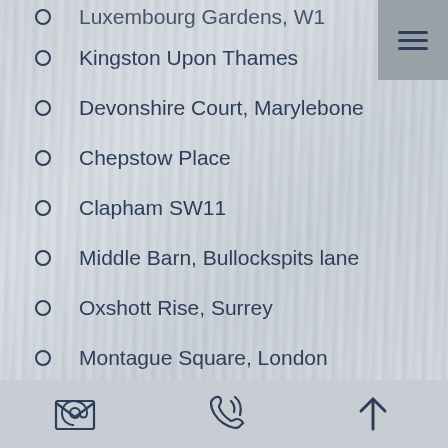Luxembourg Gardens, W1 (partial/clipped)
Kingston Upon Thames
Devonshire Court, Marylebone
Chepstow Place
Clapham SW11
Middle Barn, Bullockspits lane
Oxshott Rise, Surrey
Montague Square, London
Poplar, London E14
Avenue Road, Brentford TW8
New Street, Holborn, EC4A (partial/clipped)
Email icon | Phone icon | Up arrow